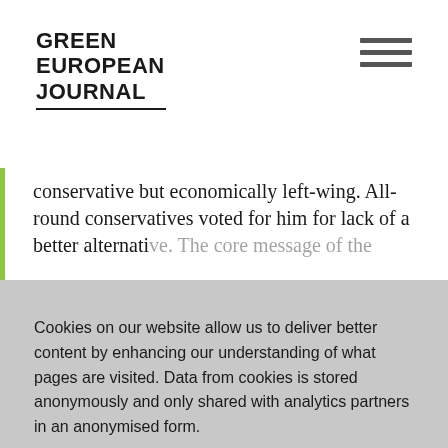GREEN EUROPEAN JOURNAL
conservative but economically left-wing. All-round conservatives voted for him for lack of a better alternative. The core message of the
Cookies on our website allow us to deliver better content by enhancing our understanding of what pages are visited. Data from cookies is stored anonymously and only shared with analytics partners in an anonymised form.

Find out more about our use of cookies in our privacy policy.
GOT IT